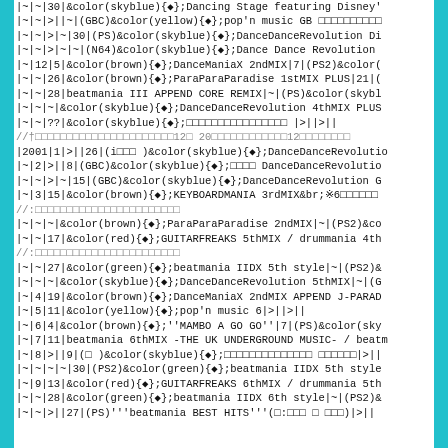wiki markup table rows for rhythm game release data
|~|~|30|&color(skyblue){◆};Dancing Stage featuring Disney'
|~|~|>||~|(GBC)&color(yellow){◆};pop'n music GB □□□□□□□□□□
|~|~|>|~|30|(PS)&color(skyblue){◆};DanceDanceRevolution Di
|~|~|>|~|~|(N64)&color(skyblue){◆};Dance Dance Revolution
|~|12|5|&color(brown){◆};DanceManiaX 2ndMIX|7|(PS2)&color(
|~|~|26|&color(brown){◆};ParaParaParadise 1stMIX PLUS|21|(
|~|~|28|beatmania III APPEND CORE REMIX|~|(PS)&color(skybl
|~|~|~|&color(skyblue){◆};DanceDanceRevolution 4thMIX PLUS
|~|~|??|&color(skyblue){◆};□□□□□□□□□□□□□□□□ |>||>||
//†□□□□□□□□□□□□□□□□□□□□□□12□ 20□□□□□□□□□□□□12□□□□□□□□
|2001|1|>||26|(i□□□ )&color(skyblue){◆};DanceDanceRevolutio
|~|2|>||8|(GBC)&color(skyblue){◆};□□□□ DanceDanceRevolutio
|~|~|>|~|15|(GBC)&color(skyblue){◆};DanceDanceRevolution G
|~|3|15|&color(brown){◆};KEYBOARDMANIA 3rdMIX&br;※6□□□□□□
//:□□□□□□□□□□□□□□□□□□□□□□□
|~|~|~|&color(brown){◆};ParaParaParadise 2ndMIX|~|(PS2)&co
|~|~|17|&color(red){◆};GUITARFREAKS 5thMIX / drummania 4th
//:□□□□□□□□□□□□□□□□□□□□□□□
|~|~|27|&color(green){◆};beatmania IIDX 5th style|~|(PS2)&
|~|~|~|&color(skyblue){◆};DanceDanceRevolution 5thMIX|~|(G
|~|4|19|&color(brown){◆};DanceManiaX 2ndMIX APPEND J-PARAD
|~|5|11|&color(yellow){◆};pop'n music 6|>||>||
|~|6|4|&color(brown){◆};''MAMBO A GO GO''|7|(PS)&color(sky
|~|7|11|beatmania 6thMIX -THE UK UNDERGROUND MUSIC- / beatm
|~|8|>||9|(□ )&color(skyblue){◆};□□□□□□□□□□□□□□ □□□□□□|>||
|~|~|~|~|30|(PS2)&color(green){◆};beatmania IIDX 5th style
|~|9|13|&color(red){◆};GUITARFREAKS 6thMIX / drummania 5th
|~|~|28|&color(green){◆};beatmania IIDX 6th style|~|(PS2)&
|~|~|>||27|(PS)'''beatmania BEST HITS'''(□:□□□ □ □□□)|>||